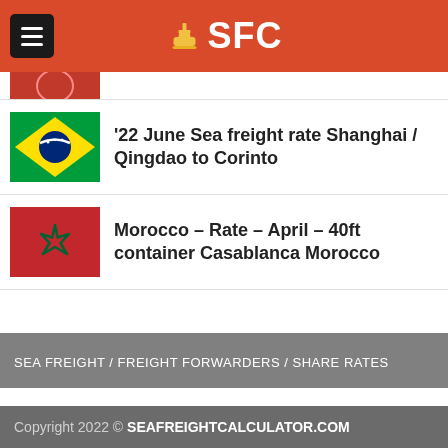SFC - Sea Freight Calculator
[Figure (photo): Partially visible thumbnail image at top of article list]
'22 June Sea freight rate Shanghai / Qingdao to Corinto
Morocco – Rate – April – 40ft container Casablanca Morocco
SEA FREIGHT / FREIGHT FORWARDERS / SHARE RATES
Copyright 2022 © SEAFREIGHTCALCULATOR.COM